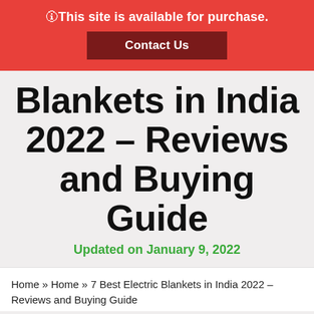🛈This site is available for purchase.
Contact Us
Blankets in India 2022 – Reviews and Buying Guide
Updated on January 9, 2022
Home » Home » 7 Best Electric Blankets in India 2022 – Reviews and Buying Guide